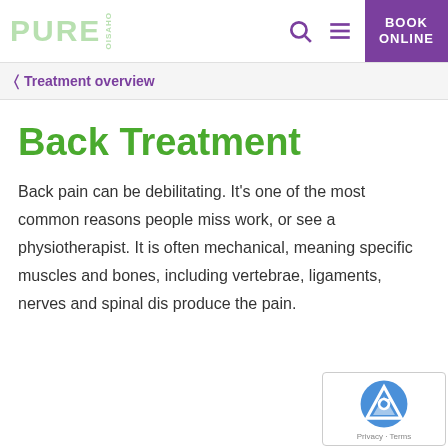PURE PHYSIO — BOOK ONLINE
Treatment overview
Back Treatment
Back pain can be debilitating. It's one of the most common reasons people miss work, or see a physiotherapist. It is often mechanical, meaning specific muscles and bones, including vertebrae, ligaments, nerves and spinal dis produce the pain.